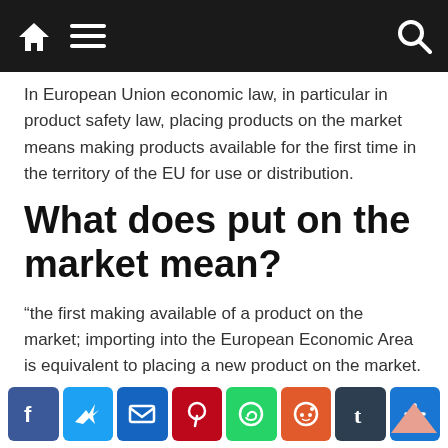[Navigation bar with home, menu, and search icons]
In European Union economic law, in particular in product safety law, placing products on the market means making products available for the first time in the territory of the EU for use or distribution.
What does put on the market mean?
“the first making available of a product on the market; importing into the European Economic Area is equivalent to placing a new product on the market.
Visit the rest of the site for more useful and informative articles!
[Social share buttons: Facebook, Twitter, Email, Pinterest, WhatsApp, Reddit, Tumblr, More]